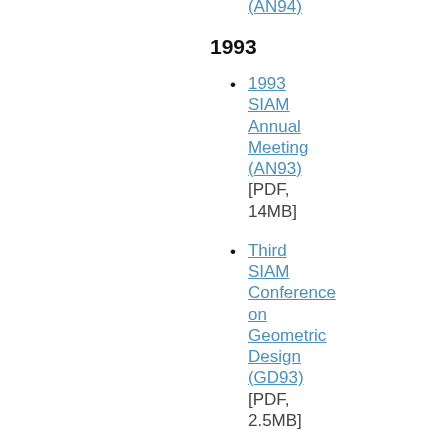SIAM Annual Meeting (AN94)
1993
1993 SIAM Annual Meeting (AN93) [PDF, 14MB]
Third SIAM Conference on Geometric Design (GD93) [PDF, 2.5MB]
Third SIAM Conference on Linear Algebra in